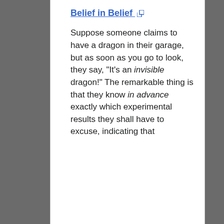Belief in Belief
Suppose someone claims to have a dragon in their garage, but as soon as you go to look, they say, "It's an invisible dragon!" The remarkable thing is that they know in advance exactly which experimental results they shall have to excuse, indicating that